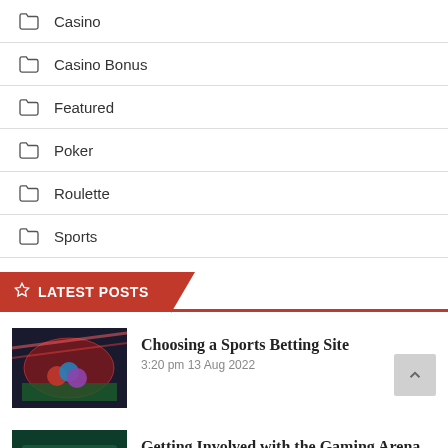Casino
Casino Bonus
Featured
Poker
Roulette
Sports
LATEST POSTS
Choosing a Sports Betting Site
3:20 pm 13 Aug 2022
Getting Involved with the Gaming Arena of